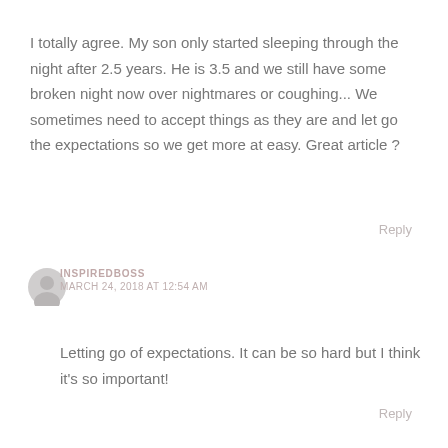I totally agree. My son only started sleeping through the night after 2.5 years. He is 3.5 and we still have some broken night now over nightmares or coughing... We sometimes need to accept things as they are and let go the expectations so we get more at easy. Great article ?
Reply
INSPIREDBOSS
MARCH 24, 2018 AT 12:54 AM
Letting go of expectations. It can be so hard but I think it’s so important!
Reply